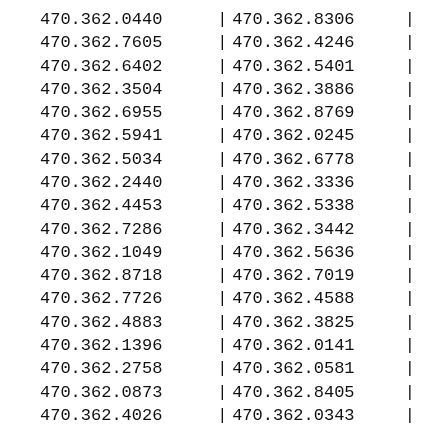| Col1 |  | Col2 |  |
| --- | --- | --- | --- |
| 470.362.0440 | | | 470.362.8306 | | |
| 470.362.7605 | | | 470.362.4246 | | |
| 470.362.6402 | | | 470.362.5401 | | |
| 470.362.3504 | | | 470.362.3886 | | |
| 470.362.6955 | | | 470.362.8769 | | |
| 470.362.5941 | | | 470.362.0245 | | |
| 470.362.5034 | | | 470.362.6778 | | |
| 470.362.2440 | | | 470.362.3336 | | |
| 470.362.4453 | | | 470.362.5338 | | |
| 470.362.7286 | | | 470.362.3442 | | |
| 470.362.1049 | | | 470.362.5636 | | |
| 470.362.8718 | | | 470.362.7019 | | |
| 470.362.7726 | | | 470.362.4588 | | |
| 470.362.4883 | | | 470.362.3825 | | |
| 470.362.1396 | | | 470.362.0141 | | |
| 470.362.2758 | | | 470.362.0581 | | |
| 470.362.0873 | | | 470.362.8405 | | |
| 470.362.4026 | | | 470.362.0343 | | |